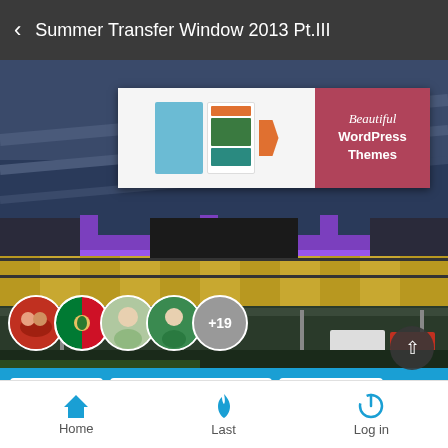< Summer Transfer Window 2013 Pt.III
[Figure (screenshot): Stadium interior photo with purple/blue LED lighting used as background. An advertisement banner for Beautiful WordPress Themes is overlaid on top.]
[Figure (infographic): Breadcrumb navigation bar in blue: Goal Legacy > Popular Football Clubs > Liverpool FC]
[Figure (photo): Row of user avatar profile circles with +19 indicator, overlaid on a nighttime exterior street scene photo with vehicles.]
Home   Last   Log in